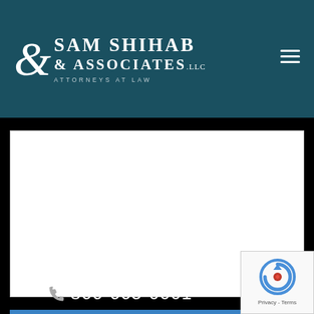[Figure (logo): Sam Shihab & Associates LLC, Attorneys at Law logo with white text on dark teal header background]
[Figure (other): White textarea input field for message/contact form]
[Figure (other): Blue Submit button]
866-665-0001
[Figure (other): reCAPTCHA badge with Privacy and Terms links]